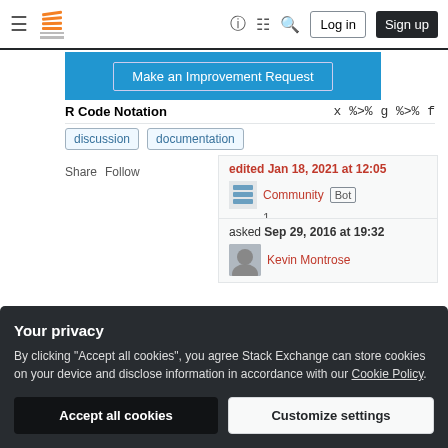Stack Exchange navigation bar with hamburger menu, logo, help, chat, search icons, Log in and Sign up buttons
[Figure (screenshot): Blue box with 'Make an Improvement Request' button]
R Code Notation    x %>% g %>% f
discussion   documentation
Share  Follow
edited Jan 18, 2021 at 12:05  Community Bot  1
asked Sep 29, 2016 at 19:32  Kevin Montrose
Your privacy
By clicking "Accept all cookies", you agree Stack Exchange can store cookies on your device and disclose information in accordance with our Cookie Policy.
Accept all cookies   Customize settings